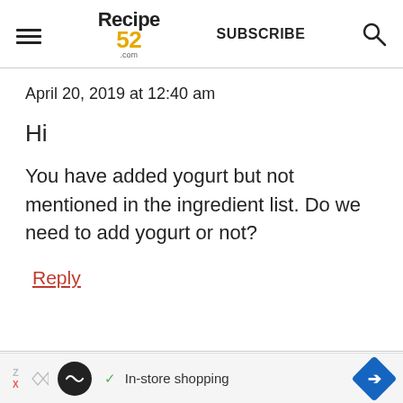Recipe 52 .com | SUBSCRIBE
April 20, 2019 at 12:40 am
Hi
You have added yogurt but not mentioned in the ingredient list. Do we need to add yogurt or not?
Reply
[Figure (screenshot): Advertisement bar at bottom: In-store shopping with infinity loop icon and navigation arrow icon]